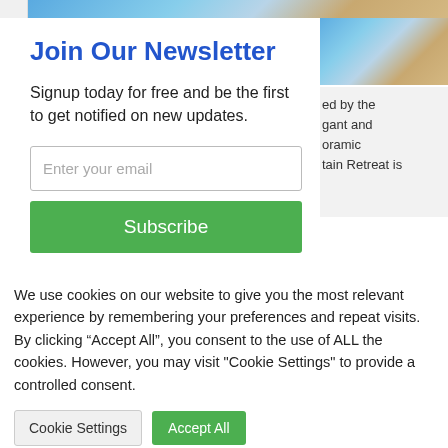[Figure (photo): Top strip with pool image partially visible]
Join Our Newsletter
Signup today for free and be the first to get notified on new updates.
Enter your email
Subscribe
[Figure (photo): Right side partial photo of pool and tile area]
ed by the gant and oramic tain Retreat is
We use cookies on our website to give you the most relevant experience by remembering your preferences and repeat visits. By clicking “Accept All”, you consent to the use of ALL the cookies. However, you may visit "Cookie Settings" to provide a controlled consent.
Cookie Settings
Accept All
×